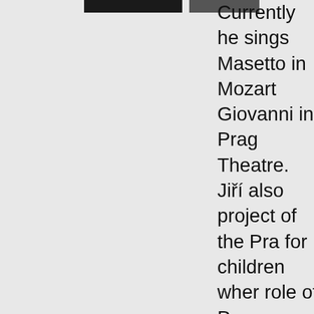[Figure (other): Two dark horizontal bars/banners at the top left of the page]
Currently he sings Masetto in Mozart Giovanni in Prague Theatre. Jiří also p project of the Prag for children where role of Papageno Flute or Escamillo Carmen. In addition to his a remains loyal to h profession. He co ambitions with his education. Right a graduation from th